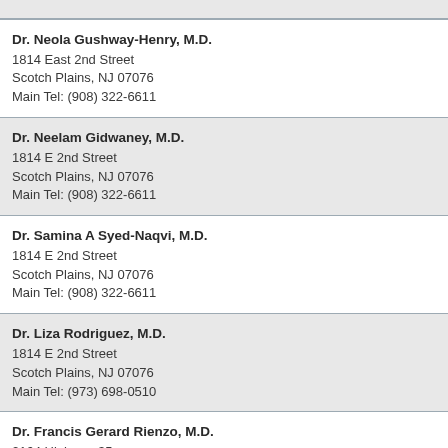Dr. Neola Gushway-Henry, M.D.
1814 East 2nd Street
Scotch Plains, NJ 07076
Main Tel: (908) 322-6611
Dr. Neelam Gidwaney, M.D.
1814 E 2nd Street
Scotch Plains, NJ 07076
Main Tel: (908) 322-6611
Dr. Samina A Syed-Naqvi, M.D.
1814 E 2nd Street
Scotch Plains, NJ 07076
Main Tel: (908) 322-6611
Dr. Liza Rodriguez, M.D.
1814 E 2nd Street
Scotch Plains, NJ 07076
Main Tel: (973) 698-0510
Dr. Francis Gerard Rienzo, M.D.
2164 Highway 35
Sea Girt, NJ 08750